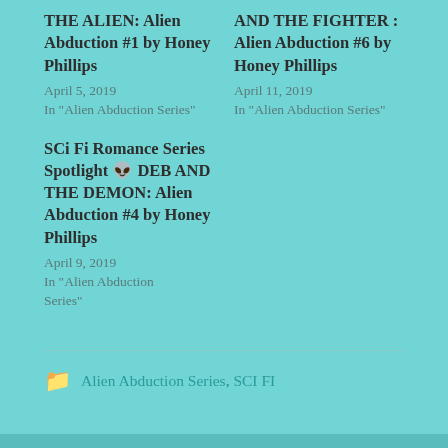THE ALIEN: Alien Abduction #1 by Honey Phillips
April 5, 2019
In "Alien Abduction Series"
AND THE FIGHTER : Alien Abduction #6 by Honey Phillips
April 11, 2019
In "Alien Abduction Series"
SCi Fi Romance Series Spotlight 👽 DEB AND THE DEMON: Alien Abduction #4 by Honey Phillips
April 9, 2019
In "Alien Abduction Series"
Alien Abduction Series, SCI FI